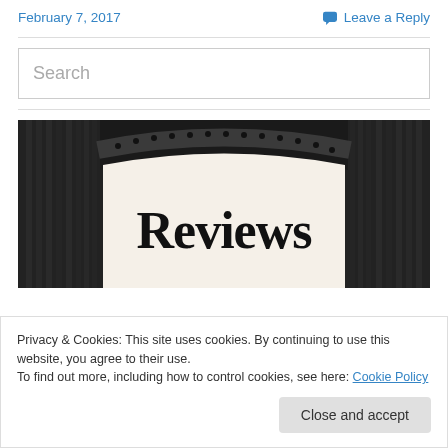February 7, 2017   Leave a Reply
Search
[Figure (photo): Black and white image of a sign reading 'Reviews' in bold serif text, with decorative dark wooden architectural framing and a curved arch above.]
Privacy & Cookies: This site uses cookies. By continuing to use this website, you agree to their use.
To find out more, including how to control cookies, see here: Cookie Policy
Close and accept